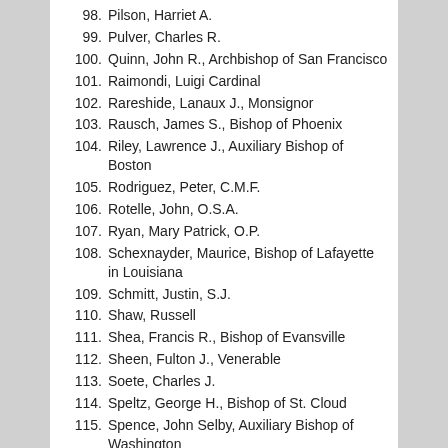98. Pilson, Harriet A.
99. Pulver, Charles R.
100. Quinn, John R., Archbishop of San Francisco
101. Raimondi, Luigi Cardinal
102. Rareshide, Lanaux J., Monsignor
103. Rausch, James S., Bishop of Phoenix
104. Riley, Lawrence J., Auxiliary Bishop of Boston
105. Rodriguez, Peter, C.M.F.
106. Rotelle, John, O.S.A.
107. Ryan, Mary Patrick, O.P.
108. Schexnayder, Maurice, Bishop of Lafayette in Louisiana
109. Schmitt, Justin, S.J.
110. Shaw, Russell
111. Shea, Francis R., Bishop of Evansville
112. Sheen, Fulton J., Venerable
113. Soete, Charles J.
114. Speltz, George H., Bishop of St. Cloud
115. Spence, John Selby, Auxiliary Bishop of Washington
116. Stamschror, Bob, Father
117. Stein, Rosemary, Sister